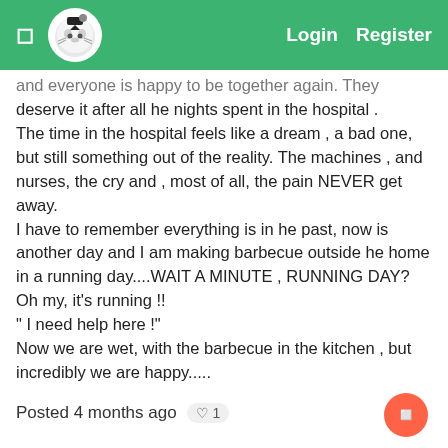Login  Register
and everyone is happy to be together again. They deserve it after all he nights spent in the hospital . The time in the hospital feels like a dream , a bad one, but still something out of the reality. The machines , and nurses, the cry and , most of all, the pain NEVER get away.
I have to remember everything is in he past, now is another day and I am making barbecue outside he home in a running day....WAIT A MINUTE , RUNNING DAY? Oh my, it's running !!
" I need help here !"
Now we are wet, with the barbecue in the kitchen , but incredibly we are happy.....
Posted 4 months ago  1